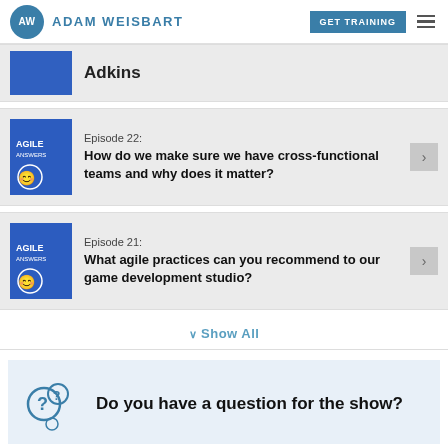AW ADAM WEISBART | GET TRAINING
Adkins
Episode 22: How do we make sure we have cross-functional teams and why does it matter?
Episode 21: What agile practices can you recommend to our game development studio?
Show All
Do you have a question for the show?